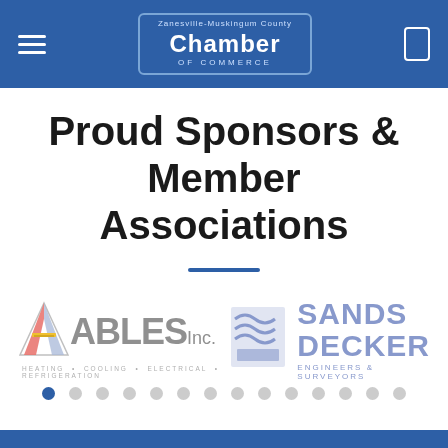Zanesville-Muskingum County Chamber of Commerce
Proud Sponsors & Member Associations
[Figure (logo): ABLES Inc. logo - heating cooling electrical refrigeration]
[Figure (logo): Sands Decker Engineers & Surveyors logo]